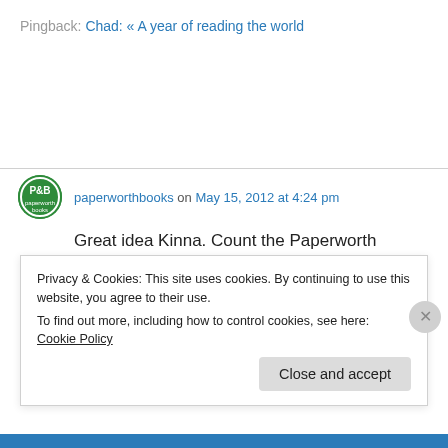Pingback: Chad: « A year of reading the world
paperworthbooks on May 15, 2012 at 4:24 pm
Great idea Kinna. Count the Paperworth Bookclub in. We intend to read 5 books from 5 different parts of Africa including one non-fiction. We would send our reviews as we progress.
Privacy & Cookies: This site uses cookies. By continuing to use this website, you agree to their use.
To find out more, including how to control cookies, see here: Cookie Policy
Close and accept